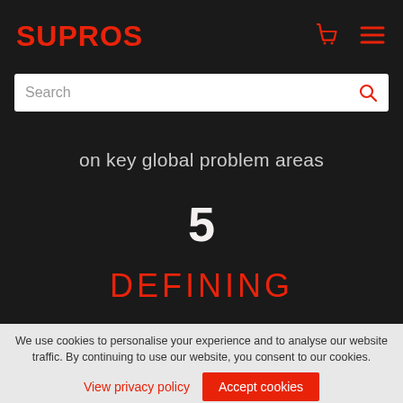SUPROS
[Figure (other): Search bar with placeholder text 'Search' and a red magnifying glass icon]
on key global problem areas
5
DEFINING
We use cookies to personalise your experience and to analyse our website traffic. By continuing to use our website, you consent to our cookies.
View privacy policy  Accept cookies